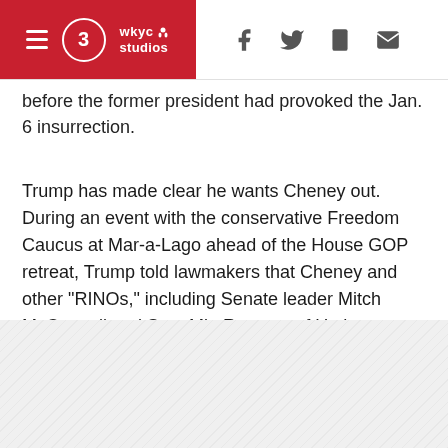WKYC Studios — navigation header with hamburger menu and social icons (Facebook, Twitter, mobile, email)
before the former president had provoked the Jan. 6 insurrection.
Trump has made clear he wants Cheney out. During an event with the conservative Freedom Caucus at Mar-a-Lago ahead of the House GOP retreat, Trump told lawmakers that Cheney and other "RINOs," including Senate leader Mitch McConnell and Sen. Mitt Romney of Utah, must go, according to two Republicans who spoke on condition of anonymity to discuss the private remarks. RINO refers to those considered insufficiently loyal or conservative — Republicans in name only.